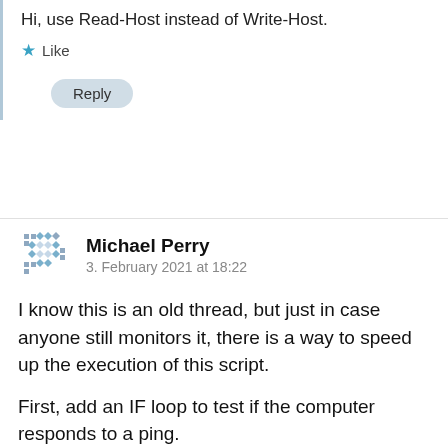Hi, use Read-Host instead of Write-Host.
Like
Reply
Michael Perry
3. February 2021 at 18:22
I know this is an old thread, but just in case anyone still monitors it, there is a way to speed up the execution of this script.
First, add an IF loop to test if the computer responds to a ping.
Second, use the new multithread option -Parallel available in Powershell 7.
To do this, you need to Install Powershell 7. Just